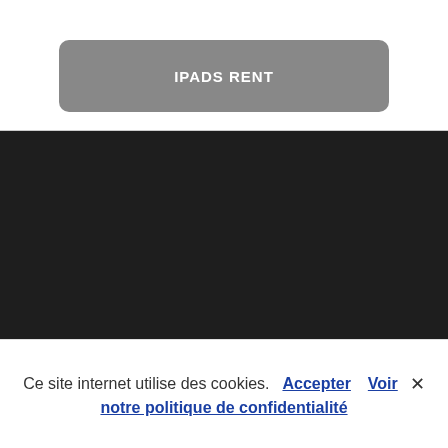[Figure (screenshot): A rounded rectangle button with grey background containing the text IPADS RENT in white bold uppercase letters]
[Figure (screenshot): A large dark/black section covering approximately the middle and lower portion of the page, representing a dark UI panel or video area]
Ce site internet utilise des cookies.  Accepter  Voir notre politique de confidentialité  ×